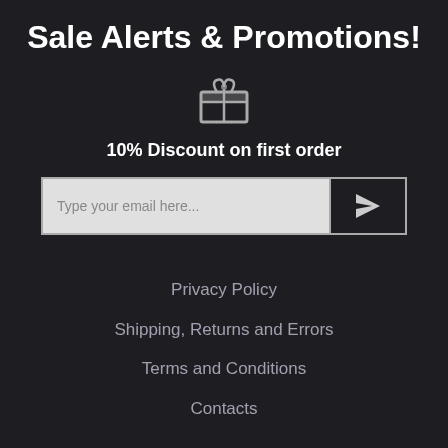Sale Alerts & Promotions!
[Figure (illustration): Gift card / voucher icon in gray]
10% Discount on first order
[Figure (other): Email input field with placeholder 'Type your email here...' and a send button with paper-plane icon]
Privacy Policy
Shipping, Returns and Errors
Terms and Conditions
Contacts